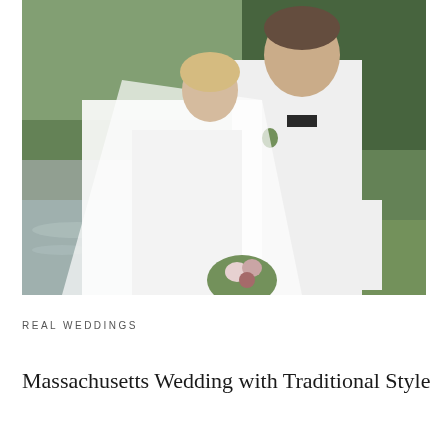[Figure (photo): Wedding couple kissing outdoors near a pond or small body of water surrounded by greenery. The bride wears a white lace dress and long veil and holds a floral bouquet. The groom wears a white tuxedo jacket with black bow tie and boutonniere.]
REAL WEDDINGS
Massachusetts Wedding with Traditional Style